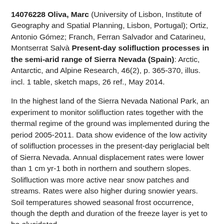14076228 Oliva, Marc (University of Lisbon, Institute of Geography and Spatial Planning, Lisbon, Portugal); Ortiz, Antonio Gómez; Franch, Ferran Salvador and Catarineu, Montserrat Salvà Present-day solifluction processes in the semi-arid range of Sierra Nevada (Spain): Arctic, Antarctic, and Alpine Research, 46(2), p. 365-370, illus. incl. 1 table, sketch maps, 26 ref., May 2014.
In the highest land of the Sierra Nevada National Park, an experiment to monitor solifluction rates together with the thermal regime of the ground was implemented during the period 2005-2011. Data show evidence of the low activity of solifluction processes in the present-day periglacial belt of Sierra Nevada. Annual displacement rates were lower than 1 cm yr-1 both in northern and southern slopes. Solifluction was more active near snow patches and streams. Rates were also higher during snowier years. Soil temperatures showed seasonal frost occurrence, though the depth and duration of the freeze layer is yet to be elucidated.